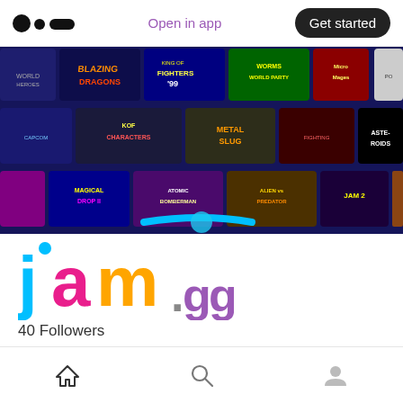Medium logo | Open in app | Get started
[Figure (screenshot): Game grid banner showing various retro game thumbnails including Blazing, King of Fighters, Worms World Party, Micro Mages, Pong, Metal Slug, Asteroids, Atomic Bomberman, Alien vs Predator and others on a dark blue background]
[Figure (logo): jam.gg colorful logo with cyan, magenta, yellow/orange lettering]
40 Followers
Follow
Home | Search | Profile